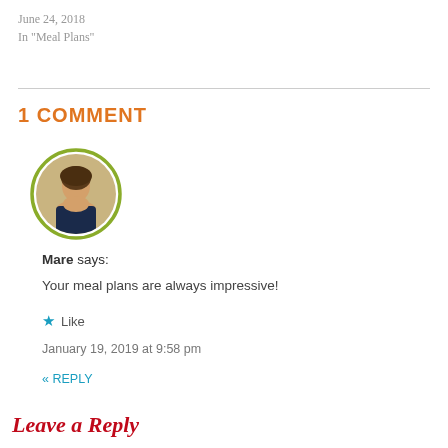June 24, 2018
In "Meal Plans"
1 COMMENT
[Figure (photo): Circular avatar photo of a woman with dark hair wearing a dark jacket, with a green border]
Mare says:
Your meal plans are always impressive!
★ Like
January 19, 2019 at 9:58 pm
« REPLY
Leave a Reply